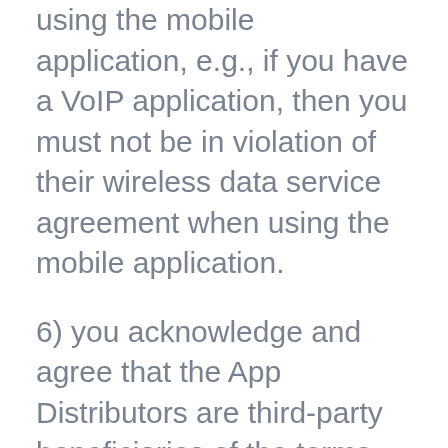using the mobile application, e.g., if you have a VoIP application, then you must not be in violation of their wireless data service agreement when using the mobile application.
6) you acknowledge and agree that the App Distributors are third-party beneficiaries of the terms and conditions in this mobile application license contained in these Terms and Conditions, and that each App Distributor will have the right (and will be deemed to have accepted the right) to